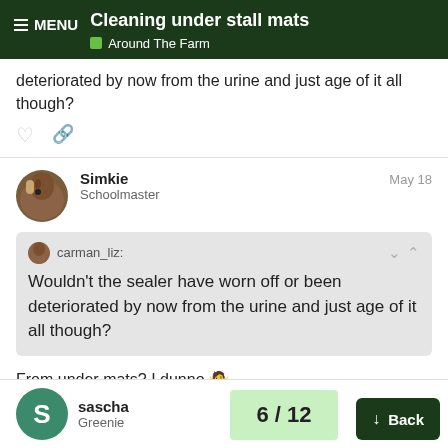MENU | Cleaning under stall mats | Around The Farm
deteriorated by now from the urine and just age of it all though?
Simkie — Schoolmaster — May 18
carman_liz: Wouldn't the sealer have worn off or been deteriorated by now from the urine and just age of it all though?
From under mats? I dunno 🤷
sascha — Greenie
6 / 12